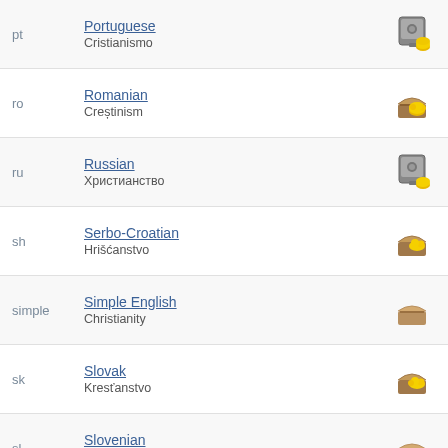pt | Portuguese | Cristianismo
ro | Romanian | Creștinism
ru | Russian | Христианство
sh | Serbo-Croatian | Hrišćanstvo
simple | Simple English | Christianity
sk | Slovak | Kresťanstvo
sl | Slovenian | Krščanstvo
sr | Serbian | Хришћанство
sv | Swedish